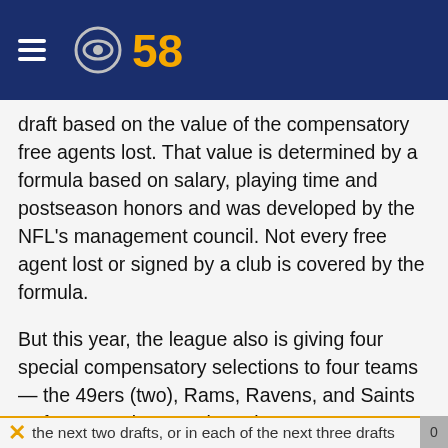CBS 58
draft based on the value of the compensatory free agents lost. That value is determined by a formula based on salary, playing time and postseason honors and was developed by the NFL’s management council. Not every free agent lost or signed by a club is covered by the formula.
But this year, the league also is giving four special compensatory selections to four teams — the 49ers (two), Rams, Ravens, and Saints — for promoting equal employment opportunities and an inclusive workforce. That initiative provides that the previous team of a minority employee who has been hired by another club as its head coach or general manager will receive compensation in the third round of each of the next two drafts, or in each of the next three drafts